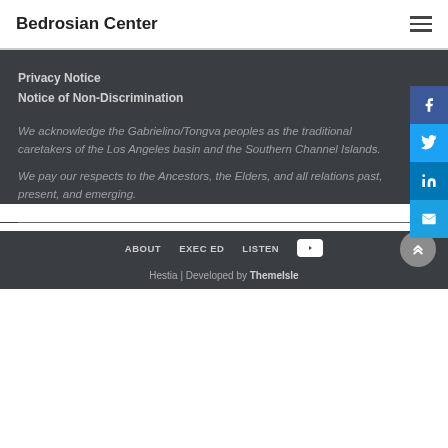Bedrosian Center
Privacy Notice
Notice of Non-Discrimination
We acknowledge the Gabrielino/Tongva peoples as the traditional caretakers of the Los Angeles basin and the Southern Channel Islands.
We pay our respects to the Ancestors, the Elders, and all relations past, present, and emerging.
ABOUT   EXEC ED   LISTEN
Hestia | Developed by ThemeIsle